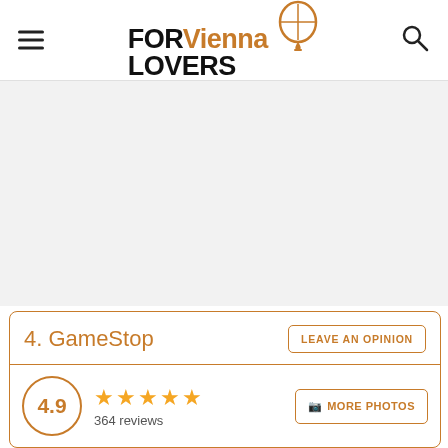[Figure (logo): FOR Vienna LOVERS logo with hot air balloon icon]
[Figure (other): Gray placeholder/advertisement area]
4. GameStop
LEAVE AN OPINION
4.9
★★★★★ 364 reviews
📷 MORE PHOTOS